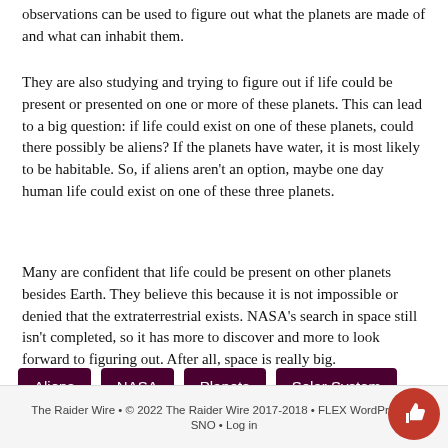observations can be used to figure out what the planets are made of and what can inhabit them.
They are also studying and trying to figure out if life could be present or presented on one or more of these planets. This can lead to a big question: if life could exist on one of these planets, could there possibly be aliens? If the planets have water, it is most likely to be habitable. So, if aliens aren't an option, maybe one day human life could exist on one of these three planets.
Many are confident that life could be present on other planets besides Earth. They believe this because it is not impossible or denied that the extraterrestrial exists. NASA's search in space still isn't completed, so it has more to discover and more to look forward to figuring out. After all, space is really big.
Aliens
NASA
Planets
Solar System
The Raider Wire • © 2022 The Raider Wire 2017-2018 • FLEX WordPress T… SNO • Log in